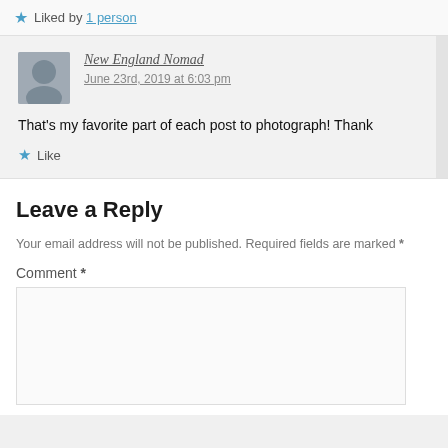★ Liked by 1 person
New England Nomad
June 23rd, 2019 at 6:03 pm
That's my favorite part of each post to photograph! Thank
★ Like
Leave a Reply
Your email address will not be published. Required fields are marked *
Comment *